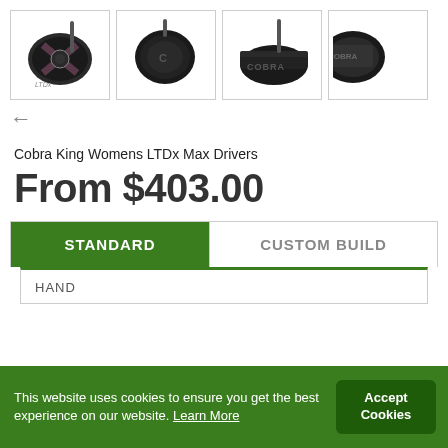[Figure (photo): Four golf driver club head product images in a row: Cobra King Womens LTDx Max Driver shown from different angles. First image shows front face with star design, second shows top view black matte, third shows side/angle view with Cobra branding, fourth is partially cropped.]
←
Cobra King Womens LTDx Max Drivers
From $403.00
STANDARD
CUSTOM BUILD
HAND
This website uses cookies to ensure you get the best experience on our website. Learn More
Accept Cookies